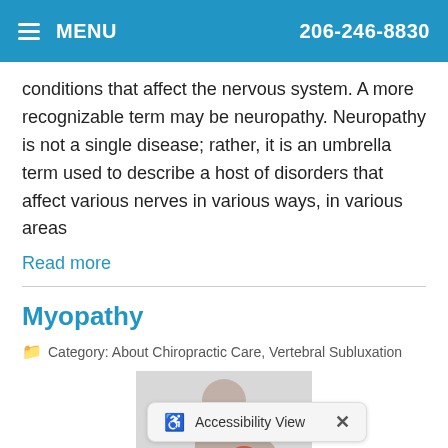MENU  206-246-8830
conditions that affect the nervous system. A more recognizable term may be neuropathy. Neuropathy is not a single disease; rather, it is an umbrella term used to describe a host of disorders that affect various nerves in various ways, in various areas
Read more
Myopathy
Category: About Chiropractic Care, Vertebral Subluxation
[Figure (photo): Person holding their lower back showing back pain with red area indicating pain point]
Accessibility View